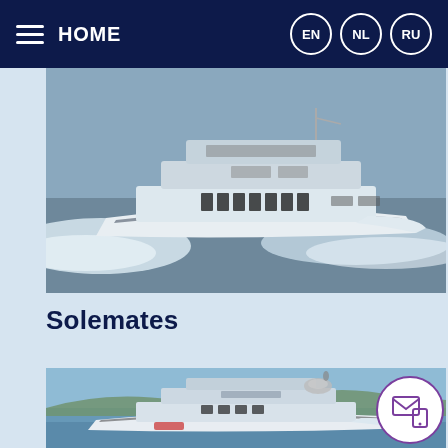HOME  EN  NL  RU
[Figure (photo): Large luxury motor yacht at speed on open water, white hull with blue-grey sea and wake, aerial/side view.]
Solemates
[Figure (photo): Large white luxury superyacht anchored or slowly moving on calm blue sea with hills and blue sky in background.]